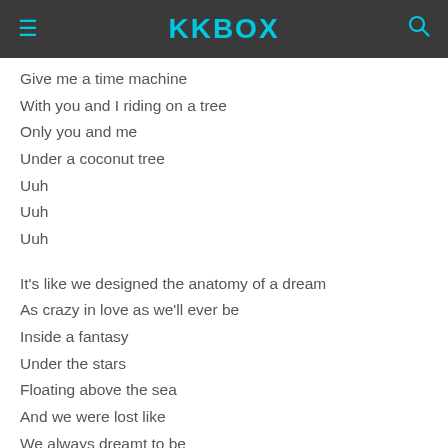KKBOX
Give me a time machine
With you and I riding on a tree
Only you and me
Under a coconut tree
Uuh
Uuh
Uuh

It's like we designed the anatomy of a dream
As crazy in love as we'll ever be
Inside a fantasy
Under the stars
Floating above the sea
And we were lost like
We always dreamt to be

I'm not alone
I say to myself
I found my home